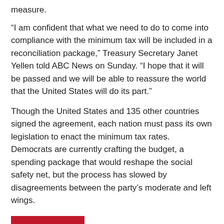measure.
“I am confident that what we need to do to come into compliance with the minimum tax will be included in a reconciliation package,” Treasury Secretary Janet Yellen told ABC News on Sunday. “I hope that it will be passed and we will be able to reassure the world that the United States will do its part.”
Though the United States and 135 other countries signed the agreement, each nation must pass its own legislation to enact the minimum tax rates. Democrats are currently crafting the budget, a spending package that would reshape the social safety net, but the process has slowed by disagreements between the party’s moderate and left wings.
READ MORE
○ National, News ❧ Democrats’ budget, economics, global minimum tax, government, Janet Yellen, OECD, Organization for Economic Cooperation and